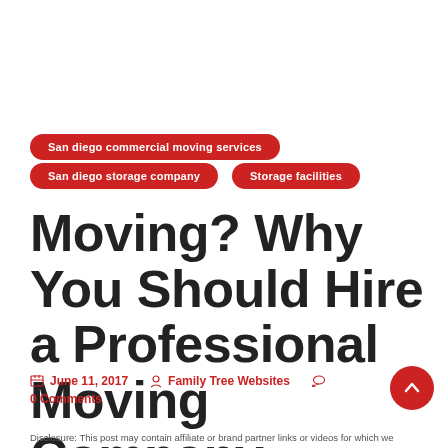San diego commercial moving services
San diego storage company
Storage facilities
Moving? Why You Should Hire a Professional Moving Company
June 11, 2017   Family Tree Websites   0 Comments
Disclosure: This post may contain affiliate or brand partner links or videos for which we